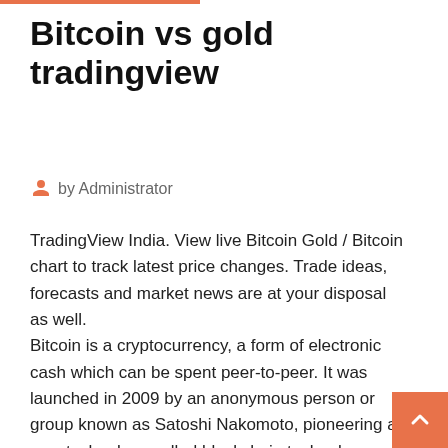Bitcoin vs gold tradingview
by Administrator
TradingView India. View live Bitcoin Gold / Bitcoin chart to track latest price changes. Trade ideas, forecasts and market news are at your disposal as well.
Bitcoin is a cryptocurrency, a form of electronic cash which can be spent peer-to-peer. It was launched in 2009 by an anonymous person or group known as Satoshi Nakomoto, pioneering a new technology called blockchain technology. Unlike a traditional information network, which stores data in a … XAUUSD Chart – Gold Spot US Dollar Price — TradingView As we are publishing this report gold is trading at $1485 however the white metal is hovering around $14.70.we have already informed you that our strong bearish bias will be intact with the precious metal sector until unless The yellow metal broke above $1500 however it was not...At Pick Off Ris...